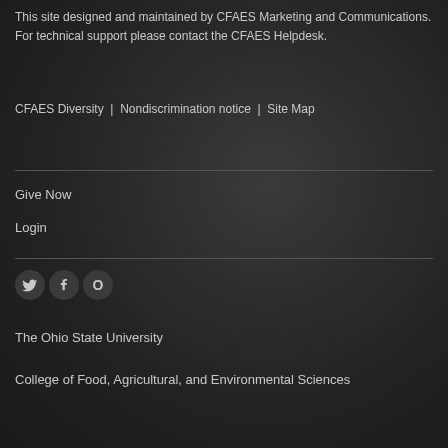This site designed and maintained by CFAES Marketing and Communications. For technical support please contact the CFAES Helpdesk.
CFAES Diversity | Nondiscrimination notice | Site Map
Give Now
Login
[Figure (other): Social media icons: Twitter, Facebook, and one other (circle with O)]
The Ohio State University
College of Food, Agricultural, and Environmental Sciences